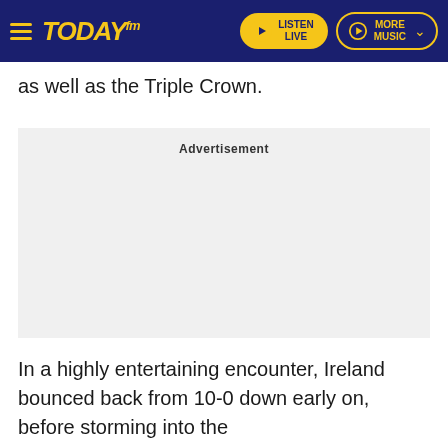Today FM — LISTEN LIVE | MORE MUSIC
as well as the Triple Crown.
[Figure (other): Advertisement placeholder box with grey background and 'Advertisement' label]
In a highly entertaining encounter, Ireland bounced back from 10-0 down early on, before storming into the